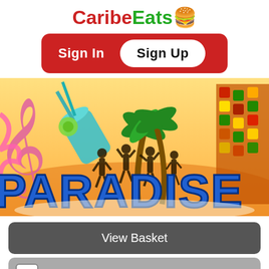CaribeEats 🍔
[Figure (other): Red rounded rectangle with Sign In (white text) and Sign Up (white pill button) options]
[Figure (photo): Paradise themed banner image with people dancing silhouettes, palm trees, tropical drink, food skewers on orange/yellow background with PARADISE text in blue]
View Basket
0   Go to Checkout